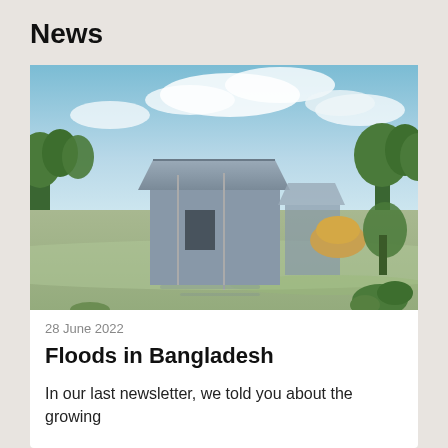News
[Figure (photo): A flooded landscape in Bangladesh showing a partially submerged building with a metal roof surrounded by floodwater. Trees and greenery visible in the background under a bright sky with clouds.]
28 June 2022
Floods in Bangladesh
In our last newsletter, we told you about the growing